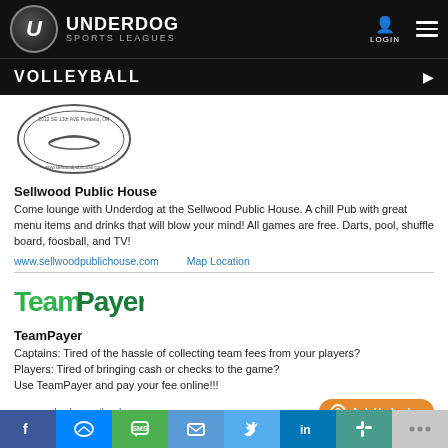UNDERDOG SPORTS LEAGUES
VOLLEYBALL
[Figure (logo): Sellwood Public House circular logo stamp]
Sellwood Public House
Come lounge with Underdog at the Sellwood Public House. A chill Pub with great menu items and drinks that will blow your mind! All games are free. Darts, pool, shuffle board, foosball, and TV!
www.sellwoodpublichouse.com    Map Location
[Figure (logo): TeamPayer green logo]
TeamPayer
Captains: Tired of the hassle of collecting team fees from your players? Players: Tired of bringing cash or checks to the game? Use TeamPayer and pay your fee online!!!
www.underdogportland.com
Social share bar: Facebook, Messenger, SMS, Email, Twitter, LinkedIn, Slack, More